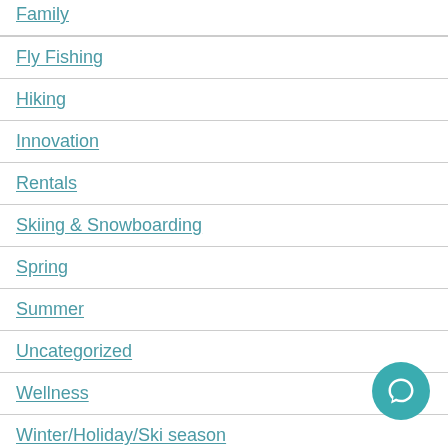Family
Fly Fishing
Hiking
Innovation
Rentals
Skiing & Snowboarding
Spring
Summer
Uncategorized
Wellness
Winter/Holiday/Ski season